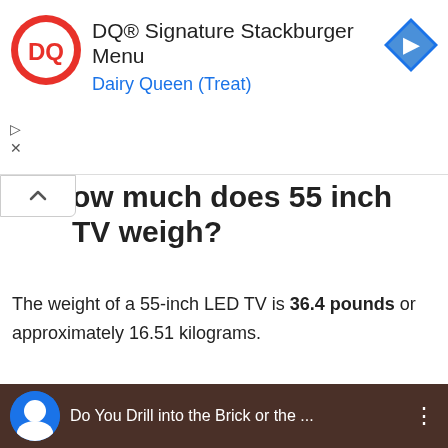[Figure (logo): DQ Dairy Queen advertisement banner with DQ logo on left, text 'DQ® Signature Stackburger Menu' and 'Dairy Queen (Treat)' in center, blue Google Maps-style arrow icon on right, with play and close controls on left side]
ow much does 55 inch TV weigh?
The weight of a 55-inch LED TV is 36.4 pounds or approximately 16.51 kilograms.
How do you screw into a brick wall?
Do You Drill into the Brick or the Mortar?
[Figure (screenshot): Video thumbnail showing 'Do You Drill into the Brick or the ...' with a dark brown/brick background, circular avatar icon on left, text in white, and three-dot menu on right]